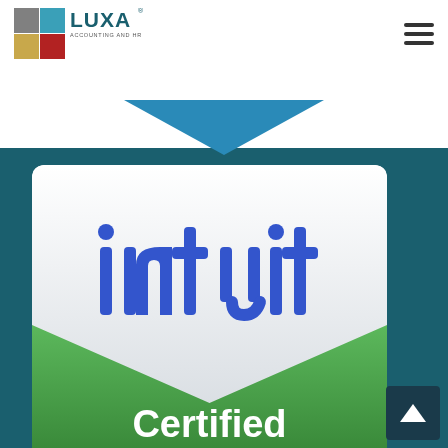[Figure (logo): LUXA Accounting and HR Services logo with colorful grid icon]
[Figure (other): Hamburger menu icon (three horizontal lines)]
[Figure (other): Teal background with white banner strip and downward-pointing chevron arrow]
[Figure (logo): Intuit Certified badge: white upper section with blue 'intuit' logotype, lower green section with white text 'Certified']
[Figure (other): Scroll-to-top button with upward chevron arrow]